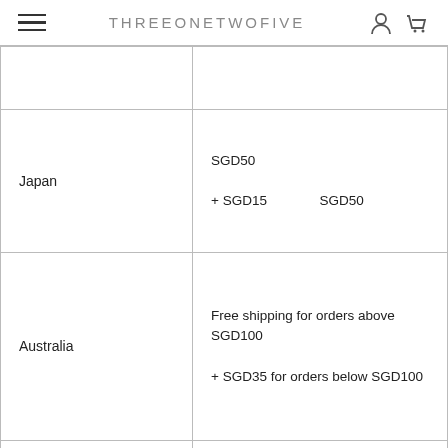THREEONETWOFIVE
|  |  |
| --- | --- |
|  |  |
| Japan | SGD50
+ SGD15                SGD50 |
| Australia | Free shipping for orders above SGD100
+ SGD35 for orders below SGD100 |
|  | Free shipping for orders above SGD100
+ SGD35 for orders below |